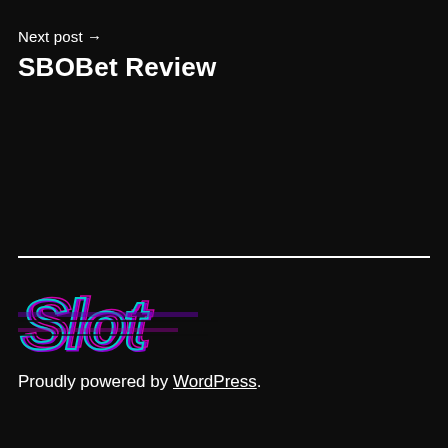Next post →
SBOBet Review
[Figure (logo): Stylized glitch-effect logo reading 'Slot' in cyan and purple/magenta colors on black background]
Proudly powered by WordPress.